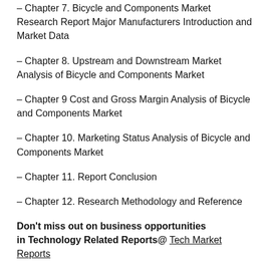– Chapter 7. Bicycle and Components Market Research Report Major Manufacturers Introduction and Market Data
– Chapter 8. Upstream and Downstream Market Analysis of Bicycle and Components Market
– Chapter 9 Cost and Gross Margin Analysis of Bicycle and Components Market
– Chapter 10. Marketing Status Analysis of Bicycle and Components Market
– Chapter 11. Report Conclusion
– Chapter 12. Research Methodology and Reference
Don't miss out on business opportunities in Technology Related Reports@ Tech Market Reports